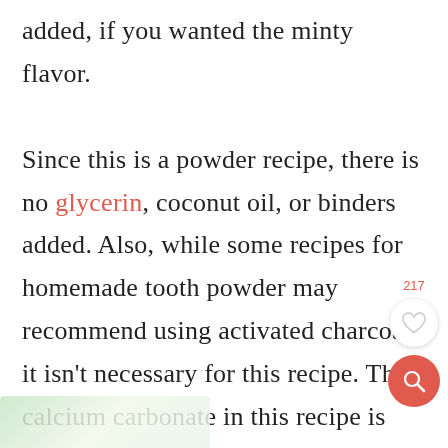added, if you wanted the minty flavor.

Since this is a powder recipe, there is no glycerin, coconut oil, or binders added. Also, while some recipes for homemade tooth powder may recommend using activated charcoal, it isn't necessary for this recipe. The calcium carbonate in this recipe is equivalent to calcium powder, similar to what other formulas may use.
[Figure (photo): Partial view of an image at the bottom left of the page, showing green/light tones, likely a food or ingredient photo]